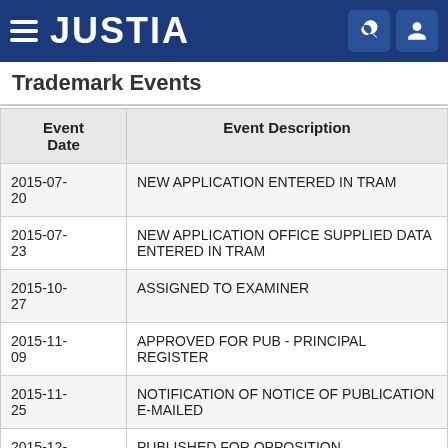[Figure (logo): Justia website header with hamburger menu, JUSTIA logo in white on dark blue background, and search/user icons]
Trademark Events
| Event Date | Event Description |
| --- | --- |
| 2015-07-20 | NEW APPLICATION ENTERED IN TRAM |
| 2015-07-23 | NEW APPLICATION OFFICE SUPPLIED DATA ENTERED IN TRAM |
| 2015-10-27 | ASSIGNED TO EXAMINER |
| 2015-11-09 | APPROVED FOR PUB - PRINCIPAL REGISTER |
| 2015-11-25 | NOTIFICATION OF NOTICE OF PUBLICATION E-MAILED |
| 2015-12- | PUBLISHED FOR OPPOSITION |